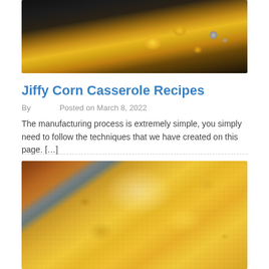[Figure (photo): Close-up photo of corn casserole dish with golden corn kernels on dark background, partially visible at top of page]
Jiffy Corn Casserole Recipes
By        Posted on March 8, 2022
The manufacturing process is extremely simple, you simply need to follow the techniques that we have created on this page. […]
[Figure (photo): Close-up overhead photo of corn casserole in a baking pan with melted cheese and corn kernels, golden-orange coloring with white creamy areas visible]